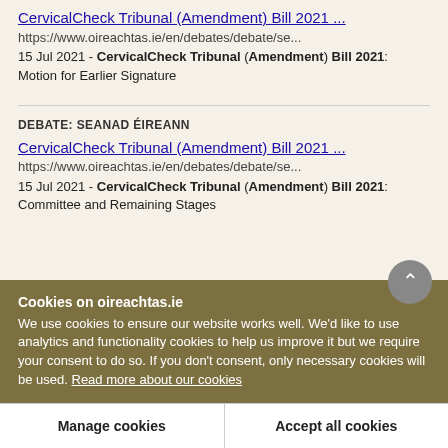CervicalCheck Tribunal (Amendment) Bill 2021 ...
https://www.oireachtas.ie/en/debates/debate/se...
15 Jul 2021 - CervicalCheck Tribunal (Amendment) Bill 2021: Motion for Earlier Signature
DEBATE: SEANAD ÉIREANN
CervicalCheck Tribunal (Amendment) Bill 2021 ...
https://www.oireachtas.ie/en/debates/debate/se...
15 Jul 2021 - CervicalCheck Tribunal (Amendment) Bill 2021: Committee and Remaining Stages
Cookies on oireachtas.ie
We use cookies to ensure our website works well. We'd like to use analytics and functionality cookies to help us improve it but we require your consent to do so. If you don't consent, only necessary cookies will be used. Read more about our cookies
Manage cookies
Accept all cookies